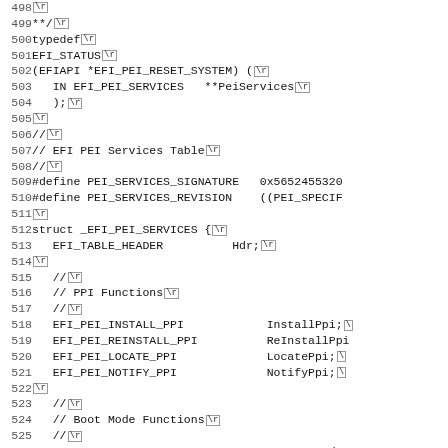Source code listing lines 498-530, C/header file with EFI PEI Services definitions including typedefs, struct _EFI_PEI_SERVICES, and preprocessor defines.